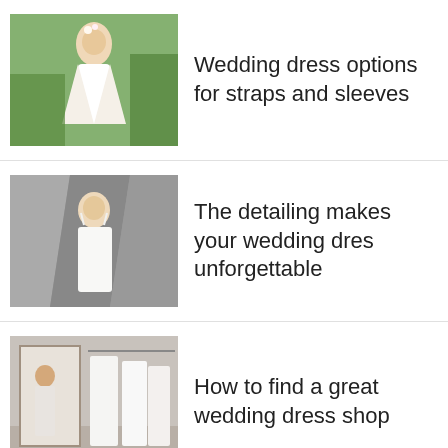[Figure (photo): Woman in white wedding dress outdoors with flowers in background]
Wedding dress options for straps and sleeves
[Figure (photo): Bride in white wedding dress with grey draped fabric background]
The detailing makes your wedding dress unforgettable
[Figure (photo): Wedding dresses on display in a bridal shop]
How to find a great wedding dress shop
THINGS TO CONSIDER WHEN CHOOSING A BRIDESMAID DRESS